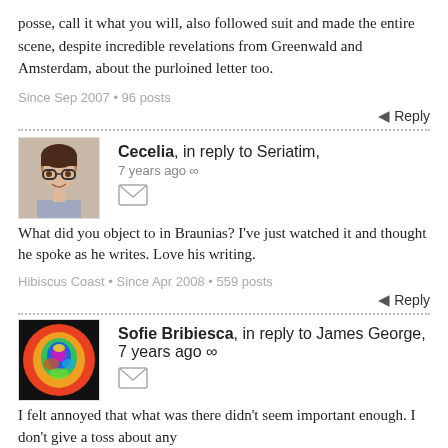posse, call it what you will, also followed suit and made the entire scene, despite incredible revelations from Greenwald and Amsterdam, about the purloined letter too.
Since Sep 2007 • 96 posts
Reply
Cecelia, in reply to Seriatim, 7 years ago ∞
What did you object to in Braunias? I've just watched it and thought he spoke as he writes. Love his writing.
Hibiscus Coast • Since Apr 2008 • 559 posts
Reply
Sofie Bribiesca, in reply to James George, 7 years ago ∞
I felt annoyed that what was there didn't seem important enough. I don't give a toss about any